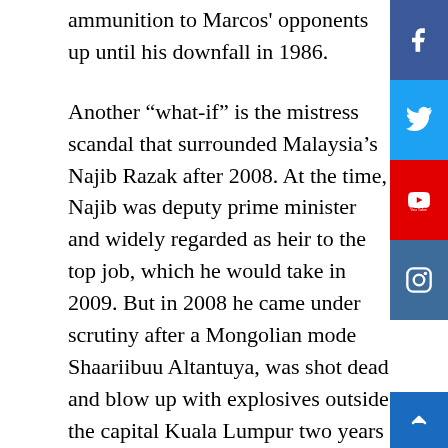ammunition to Marcos' opponents up until his downfall in 1986.
Another “what-if” is the mistress scandal that surrounded Malaysia’s Najib Razak after 2008. At the time, Najib was deputy prime minister and widely regarded as heir to the top job, which he would take in 2009. But in 2008 he came under scrutiny after a Mongolian model, Shaariibuu Altantuya, was shot dead and blown up with explosives outside the capital Kuala Lumpur two years earlier. Altantuya was believed to have been the mistress of an important associate of Najib’s, Abdul Razak, who was cleared of any involvement in 2009. That year, though, the controversial blogger